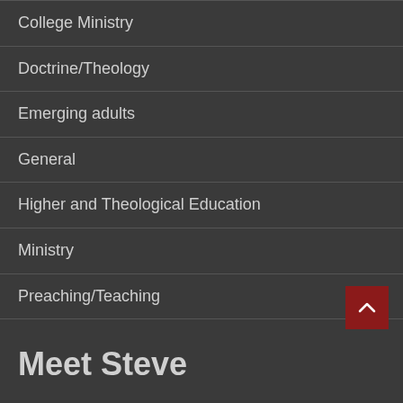College Ministry
Doctrine/Theology
Emerging adults
General
Higher and Theological Education
Ministry
Preaching/Teaching
Religion
The Church
Uncategorized
United Methodism
youth ministry
Meet Steve